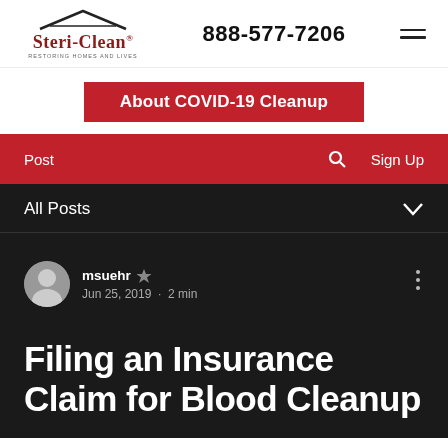Steri-Clean RESTORING HOMES AND LIVES | 888-577-7206
About COVID-19 Cleanup
Post | Sign Up
All Posts
msuehr · Jun 25, 2019 · 2 min
Filing an Insurance Claim for Blood Cleanup